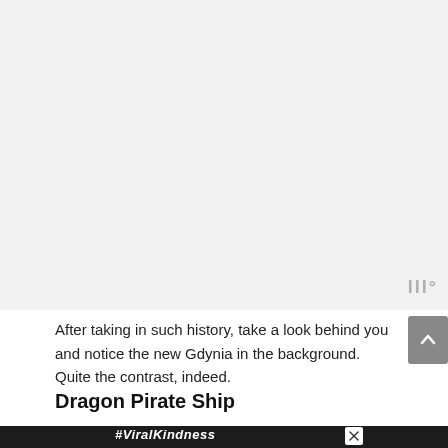[Figure (other): Large light gray blank area filling the top portion of the page, representing an image placeholder or scrolled-off content area. A small watermark 'W°' appears at the bottom-right of this area.]
After taking in such history, take a look behind you and notice the new Gdynia in the background. Quite the contrast, indeed.
Dragon Pirate Ship
[Figure (photo): Advertisement banner with dark background showing a rainbow illustration on the left and bold italic white text '#ViralKindness'. A white close button (×) is visible. A gray 'W°' watermark appears in the bottom-right corner.]